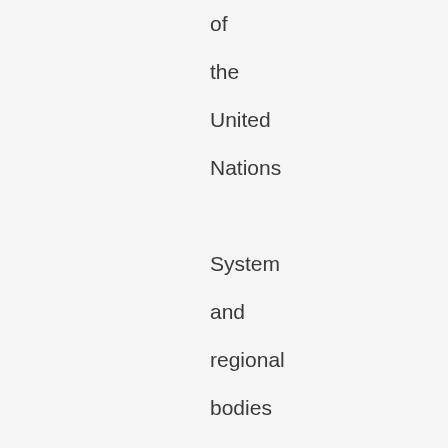of the United Nations System and regional bodies to initiate a process whose objective is the recognition of the Right to the City